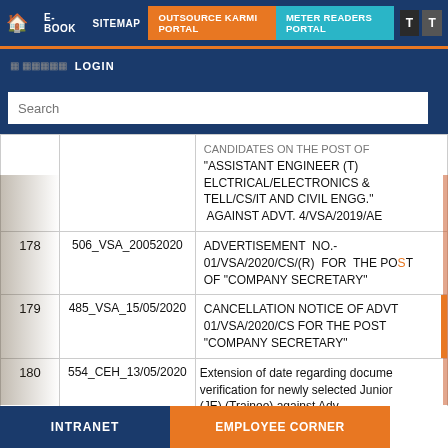Navigation: Home | E-BOOK | SITEMAP | OUTSOURCE KARMI PORTAL | METER READERS PORTAL | T | T
LOGIN
| # | ID | Description |
| --- | --- | --- |
|  |  | CANDIDATES ON THE POST OF "ASSISTANT ENGINEER (T) ELCTRICAL/ELECTRONICS & TELL/CS/IT AND CIVIL ENGG." AGAINST ADVT. 4/VSA/2019/AE |
| 178 | 506_VSA_20052020 | ADVERTISEMENT NO.-01/VSA/2020/CS/(R) FOR THE POST OF "COMPANY SECRETARY" |
| 179 | 485_VSA_15/05/2020 | CANCELLATION NOTICE OF ADVT. 01/VSA/2020/CS FOR THE POST "COMPANY SECRETARY" |
| 180 | 554_CEH_13/05/2020 | Extension of date regarding document verification for newly selected Junior Engineer (JE) (Trainee) against Advt. No. /2019/ JE.04.05 and 06... |
INTRANET | EMPLOYEE CORNER